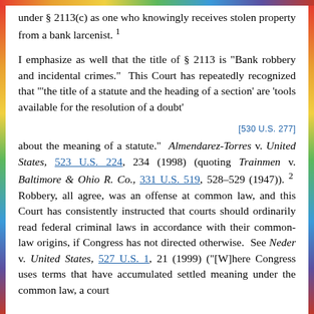under § 2113(c) as one who knowingly receives stolen property from a bank larcenist. 1
I emphasize as well that the title of § 2113 is "Bank robbery and incidental crimes." This Court has repeatedly recognized that "'the title of a statute and the heading of a section' are 'tools available for the resolution of a doubt'
[530 U.S. 277]
about the meaning of a statute." Almendarez-Torres v. United States, 523 U.S. 224, 234 (1998) (quoting Trainmen v. Baltimore & Ohio R. Co., 331 U.S. 519, 528-529 (1947)). 2 Robbery, all agree, was an offense at common law, and this Court has consistently instructed that courts should ordinarily read federal criminal laws in accordance with their common-law origins, if Congress has not directed otherwise. See Neder v. United States, 527 U.S. 1, 21 (1999) ("[W]here Congress uses terms that have accumulated settled meaning under the common law, a court